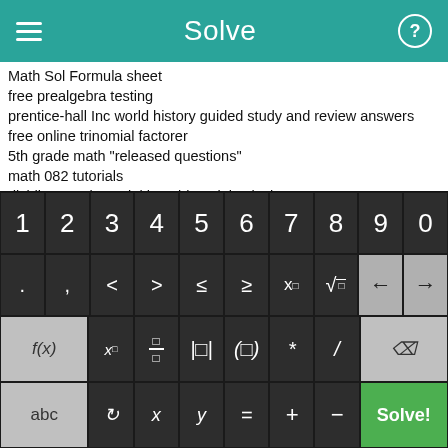Solve
Math Sol Formula sheet
free prealgebra testing
prentice-hall Inc world history guided study and review answers
free online trinomial factorer
5th grade math "released questions"
math 082 tutorials
dividing a polynomial by a binomial calculator
division of decimals worksheets
linear equations practice sheets
fraction to percent worksheets
[Figure (screenshot): On-screen math keyboard with digit row (1-0), symbol row (. , < > ≤ ≥ x□ √ ← →), function row (f(x), x□, fraction, abs, parens, *, /, backspace), and bottom row (abc, refresh, x, y, =, +, -, Solve! button)]